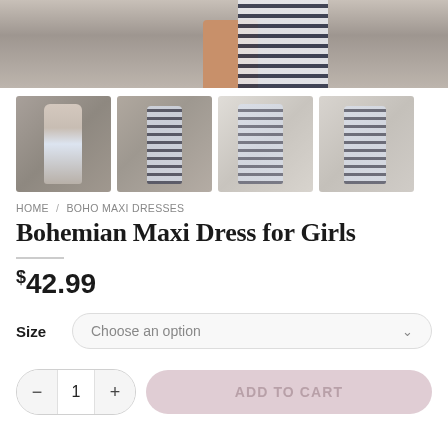[Figure (photo): Cropped bottom half of model wearing a blue and white striped sleeveless dress, standing against a concrete wall]
[Figure (photo): Four thumbnail images of a woman wearing a Bohemian Maxi dress in blue and white stripes, shown from different angles against concrete/indoor backgrounds]
HOME / BOHO MAXI DRESSES
Bohemian Maxi Dress for Girls
$42.99
Size   Choose an option
- 1 +  ADD TO CART